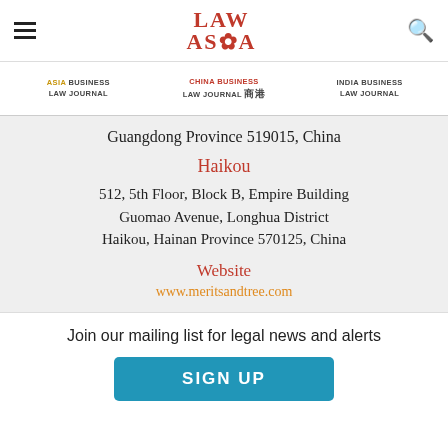LAW ASIA (logo with hamburger menu and search icon)
ASIA BUSINESS LAW JOURNAL | CHINA BUSINESS LAW JOURNAL | INDIA BUSINESS LAW JOURNAL
Guangdong Province 519015, China
Haikou
512, 5th Floor, Block B, Empire Building
Guomao Avenue, Longhua District
Haikou, Hainan Province 570125, China
Website
www.meritsandtree.com
Join our mailing list for legal news and alerts
SIGN UP